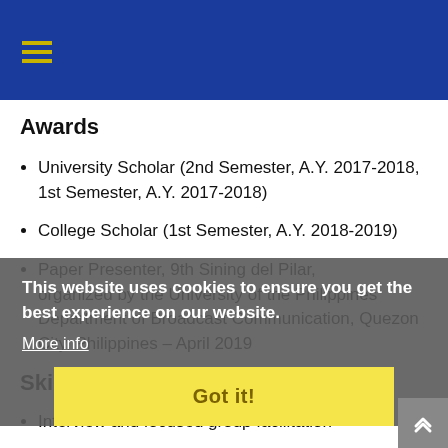Navigation menu (hamburger icon) on blue header bar
Awards
University Scholar (2nd Semester, A.Y. 2017-2018, 1st Semester, A.Y. 2017-2018)
College Scholar (1st Semester, A.Y. 2018-2019)
Paper Presenter, 9th Sining del Pilar, organized by the University of the Philippines Department of Broadcast Communication, Quezon City, Philippines – April 2019
Skills
Interview and focused group facilitation
This website uses cookies to ensure you get the best experience on our website.
More info
Got it!